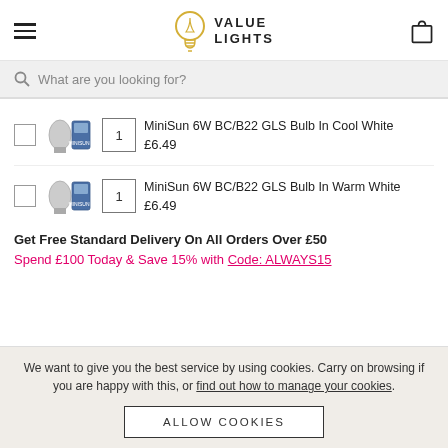VALUE LIGHTS
What are you looking for?
MiniSun 6W BC/B22 GLS Bulb In Cool White £6.49
MiniSun 6W BC/B22 GLS Bulb In Warm White £6.49
Get Free Standard Delivery On All Orders Over £50
Spend £100 Today & Save 15% with Code: ALWAYS15
We want to give you the best service by using cookies. Carry on browsing if you are happy with this, or find out how to manage your cookies.
ALLOW COOKIES